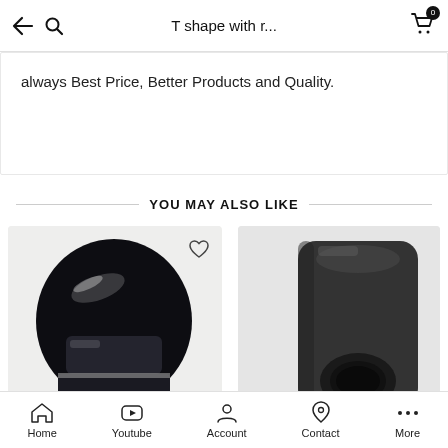T shape with r...
always Best Price, Better Products and Quality.
YOU MAY ALSO LIKE
[Figure (photo): Product photo of a dark/black motorcycle or ski helmet with glossy finish]
[Figure (photo): Product photo of a dark gray/black cylindrical tube fitting or connector with a hole]
Home  Youtube  Account  Contact  More